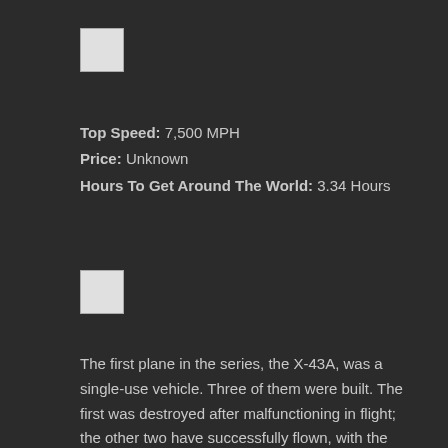[Figure (other): Small white/light gray square box placeholder image]
Top Speed: 7,500 MPH
Price: Unknown
Hours To Get Around The World: 3.34 Hours
[Figure (other): Small white/light gray square box placeholder image]
The first plane in the series, the X-43A, was a single-use vehicle. Three of them were built. The first was destroyed after malfunctioning in flight; the other two have successfully flown, with the scramjet operating for approximately 10 seconds, followed by a 10-minute glide and intentional crash into the ocean.
The X-43 has set several airspeed records for jet-propelled aircraft, with its fastest record at approximately Mach 9.6 (7,310 mph) (11,000 km/h). In March 2006, it was announced that the Air